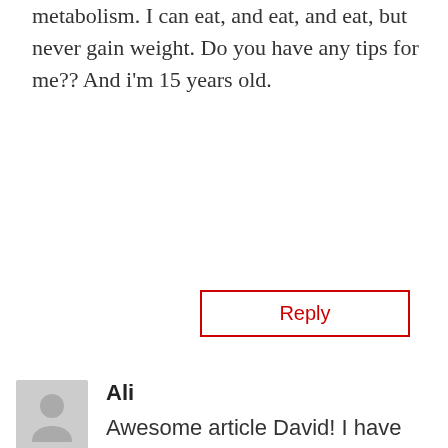metabolism. I can eat, and eat, and eat, but never gain weight. Do you have any tips for me?? And i'm 15 years old.
Reply
Ali
Awesome article David! I have been a huge fan since I started working out and these tips were extremely helpful. I loved your point about work out frequency and working out 2x a week for optimal muscle